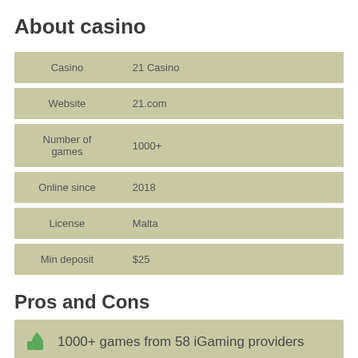About casino
| Casino | 21 Casino |
| --- | --- |
| Casino | 21 Casino |
| Website | 21.com |
| Number of games | 1000+ |
| Online since | 2018 |
| License | Malta |
| Min deposit | $25 |
Pros and Cons
1000+ games from 58 iGaming providers